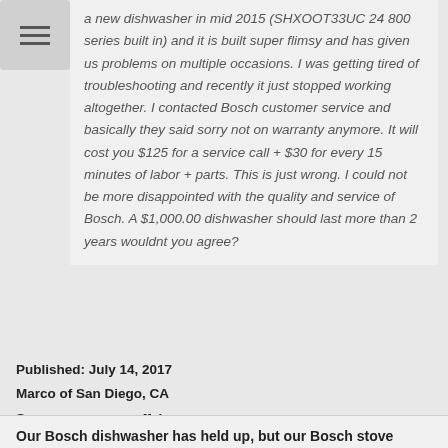a new dishwasher in mid 2015 (SHXOOT33UC 24 800 series built in) and it is built super flimsy and has given us problems on multiple occasions. I was getting tired of troubleshooting and recently it just stopped working altogether. I contacted Bosch customer service and basically they said sorry not on warranty anymore. It will cost you $125 for a service call + $30 for every 15 minutes of labor + parts. This is just wrong. I could not be more disappointed with the quality and service of Bosch. A $1,000.00 dishwasher should last more than 2 years wouldnt you agree?
Published: July 14, 2017
Marco of San Diego, CA
Source: consumeraffairs.com
Our Bosch dishwasher has held up, but our Bosch stove has not. It is only 1